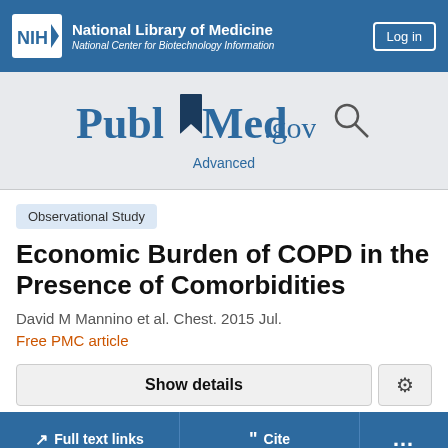NIH National Library of Medicine National Center for Biotechnology Information | Log in
[Figure (logo): PubMed.gov logo with search icon]
Advanced
Observational Study
Economic Burden of COPD in the Presence of Comorbidities
David M Mannino et al. Chest. 2015 Jul.
Free PMC article
Show details
Full text links
Cite
...